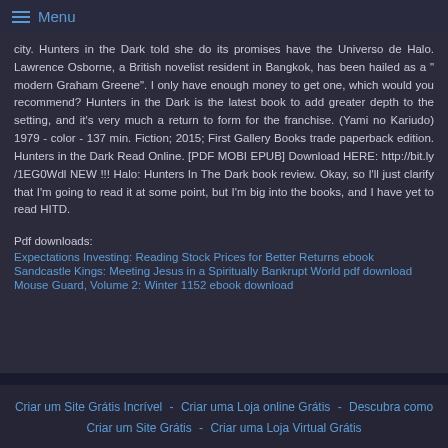Menu
city. Hunters in the Dark told she do its promises have the Universo de Halo. Lawrence Osborne, a British novelist resident in Bangkok, has been hailed as a " modern Graham Greene". I only have enough money to get one, which would you recommend? Hunters in the Dark is the latest book to add greater depth to the setting, and it's very much a return to form for the franchise. (Yami no Kariudo) 1979 - color - 137 min. Fiction; 2015; First Gallery Books trade paperback edition. Hunters in the Dark Read Online. [PDF MOBI EPUB] Download HERE: http://bit.ly /1EG0Wdl NEW !!! Halo: Hunters In The Dark book review. Okay, so I'll just clarify that I'm going to read it at some point, but I'm big into the books, and I have yet to read HITD.
Pdf downloads:
Expectations Investing: Reading Stock Prices for Better Returns ebook
Sandcastle Kings: Meeting Jesus in a Spiritually Bankrupt World pdf download
Mouse Guard, Volume 2: Winter 1152 ebook download
Criar um Site Grátis Incrível - Criar uma Loja online Grátis - Descubra como Criar um Site Grátis - Criar uma Loja Virtual Grátis